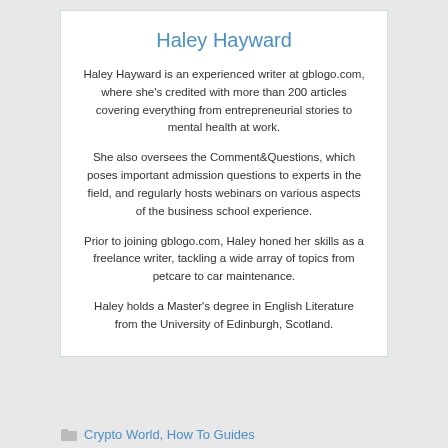Haley Hayward
Haley Hayward is an experienced writer at gblogo.com, where she’s credited with more than 200 articles covering everything from entrepreneurial stories to mental health at work.
She also oversees the Comment&Questions, which poses important admission questions to experts in the field, and regularly hosts webinars on various aspects of the business school experience.
Prior to joining gblogo.com, Haley honed her skills as a freelance writer, tackling a wide array of topics from petcare to car maintenance.
Haley holds a Master’s degree in English Literature from the University of Edinburgh, Scotland.
Crypto World, How To Guides